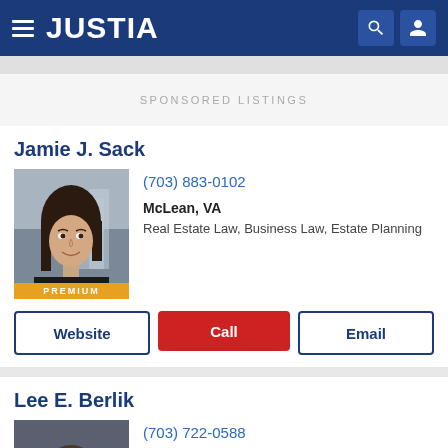JUSTIA
SPONSORED LISTINGS
Jamie J. Sack
(703) 883-0102
McLean, VA
Real Estate Law, Business Law, Estate Planning
PREMIUM
Website
Call
Email
Lee E. Berlik
(703) 722-0588
Reston, VA